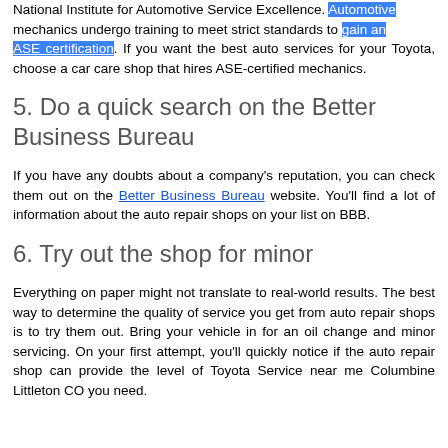National Institute for Automotive Service Excellence. Automotive mechanics undergo training to meet strict standards to gain an ASE certification. If you want the best auto services for your Toyota, choose a car care shop that hires ASE-certified mechanics.
5. Do a quick search on the Better Business Bureau
If you have any doubts about a company's reputation, you can check them out on the Better Business Bureau website. You'll find a lot of information about the auto repair shops on your list on BBB.
6. Try out the shop for minor
Everything on paper might not translate to real-world results. The best way to determine the quality of service you get from auto repair shops is to try them out. Bring your vehicle in for an oil change and minor servicing. On your first attempt, you'll quickly notice if the auto repair shop can provide the level of Toyota Service near me Columbine Littleton CO you need.